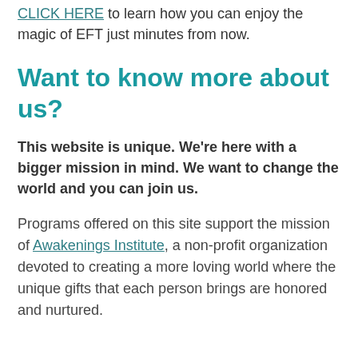CLICK HERE to learn how you can enjoy the magic of EFT just minutes from now.
Want to know more about us?
This website is unique. We're here with a bigger mission in mind. We want to change the world and you can join us.
Programs offered on this site support the mission of Awakenings Institute, a non-profit organization devoted to creating a more loving world where the unique gifts that each person brings are honored and nurtured.